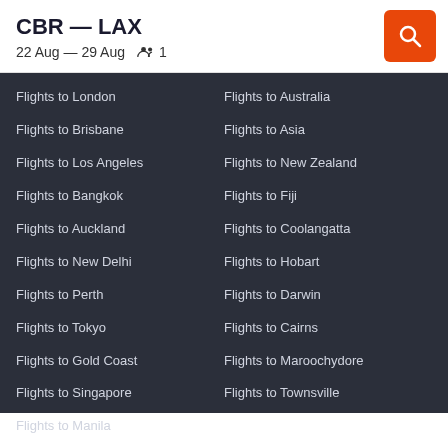CBR — LAX
22 Aug — 29 Aug   👥 1
Flights to London
Flights to Australia
Flights to Brisbane
Flights to Asia
Flights to Los Angeles
Flights to New Zealand
Flights to Bangkok
Flights to Fiji
Flights to Auckland
Flights to Coolangatta
Flights to New Delhi
Flights to Hobart
Flights to Perth
Flights to Darwin
Flights to Tokyo
Flights to Cairns
Flights to Gold Coast
Flights to Maroochydore
Flights to Singapore
Flights to Townsville
Flights to Manila
Site
AUSTRALIA